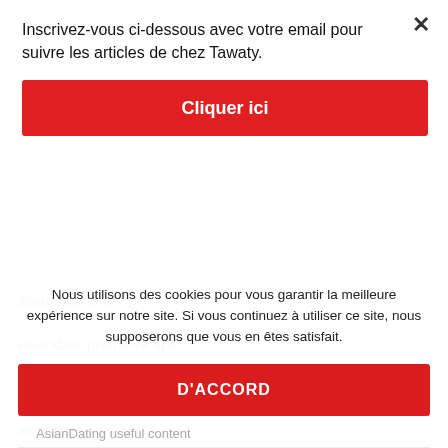Inscrivez-vous ci-dessous avec votre email pour suivre les articles de chez Tawaty.
Cliquer ici
asiandate chat
asiandate premiova apk
asiandate registrati
asiandate review
Asiandate unf2hige
Nous utilisons des cookies pour vous garantir la meilleure expérience sur notre site. Si vous continuez à utiliser ce site, nous supposerons que vous en êtes satisfait.
D'ACCORD
AsianDating useful content